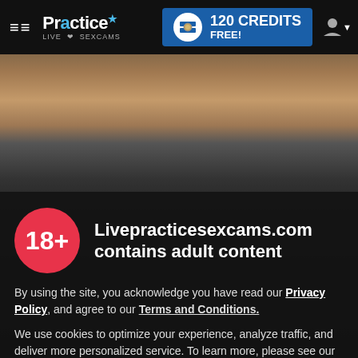≡≡  Practice Live SexCams  |  120 CREDITS FREE!
[Figure (photo): Tattooed woman in background photo, partially visible, dark tones]
Livepracticesexcams.com contains adult content
By using the site, you acknowledge you have read our Privacy Policy, and agree to our Terms and Conditions.
We use cookies to optimize your experience, analyze traffic, and deliver more personalized service. To learn more, please see our Privacy Policy.
I AGREE